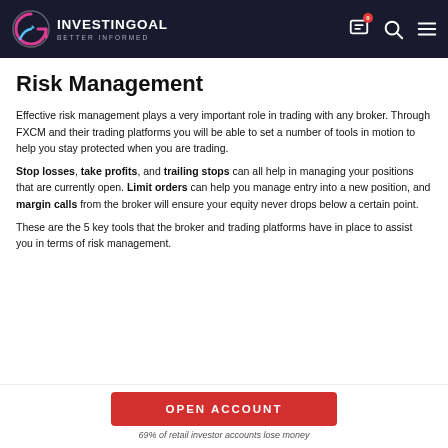INVESTINGOAL BETTER INFORMED
Risk Management
Effective risk management plays a very important role in trading with any broker. Through FXCM and their trading platforms you will be able to set a number of tools in motion to help you stay protected when you are trading.
Stop losses, take profits, and trailing stops can all help in managing your positions that are currently open. Limit orders can help you manage entry into a new position, and margin calls from the broker will ensure your equity never drops below a certain point.
These are the 5 key tools that the broker and trading platforms have in place to assist you in terms of risk management.
OPEN ACCOUNT
69% of retail investor accounts lose money